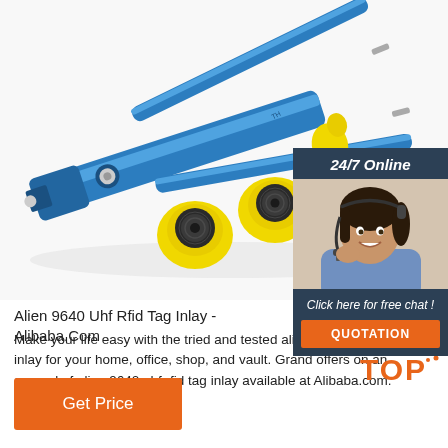[Figure (photo): Blue RFID ear tag applicator tool with yellow ear tags containing black RFID inlays, arranged on white background. Product image for alien 9640 UHF RFID tag inlay.]
[Figure (infographic): Chat widget overlay with dark background showing '24/7 Online' header, female customer service agent with headset photo, 'Click here for free chat!' text, and orange QUOTATION button]
Alien 9640 Uhf Rfid Tag Inlay - Alibaba.Com
Make your life easy with the tried and tested alien 9640 uhf rfid tag inlay for your home, office, shop, and vault. Grand offers on an arsenal of alien 9640 uhf rfid tag inlay available at Alibaba.com.
[Figure (infographic): Orange TOP badge with decorative dots in orange/brown colors]
Get Price